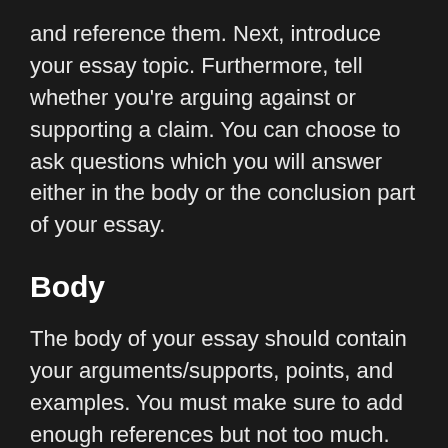and reference them. Next, introduce your essay topic. Furthermore, tell whether you're arguing against or supporting a claim. You can choose to ask questions which you will answer either in the body or the conclusion part of your essay.
Body
The body of your essay should contain your arguments/supports, points, and examples. You must make sure to add enough references but not too much. Some students worry when it comes to writing the body of their essay mainly because of word count. Here's a tip to help you beat your word count: write in passive voice and not in active voice. For example, if you want to